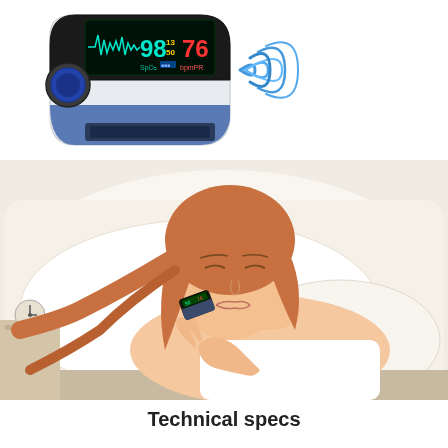[Figure (photo): A finger pulse oximeter device (white, black and blue) shown in the upper left with an OLED display reading SpO2 98 and PR 76, with blue sound/signal waves on the right side. Below is a photo of a sleeping woman lying on white pillows, holding the pulse oximeter on her finger with her left hand resting on the pillow.]
Technical specs